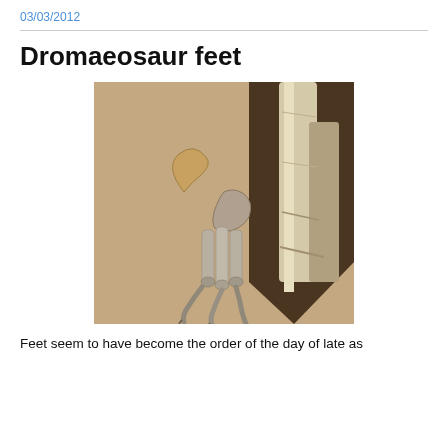03/03/2012
Dromaeosaur feet
[Figure (photo): Fossilized dromaeosaur foot bones showing the characteristic large sickle claw and smaller toe bones, mounted against a dark background with a large bone/limb visible to the right.]
Feet seem to have become the order of the day of late as